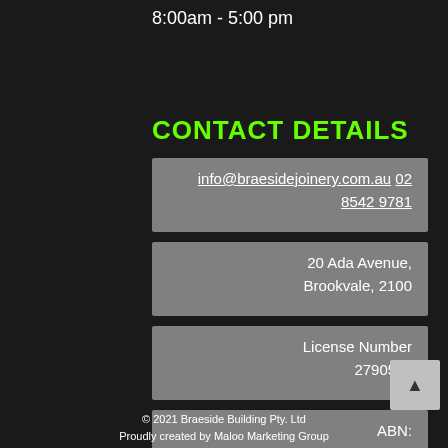8:00am - 5:00 pm
CONTACT DETAILS
info@braesidejoinery.com.au
02 8542 9781
20 Ada Avenue,
Brookvale, 2100
License Number
279055c
ABN:
48 636 960 588
© 2021 Braeside Building Pty. Ltd
Proudly created by Maloo Marketing Group